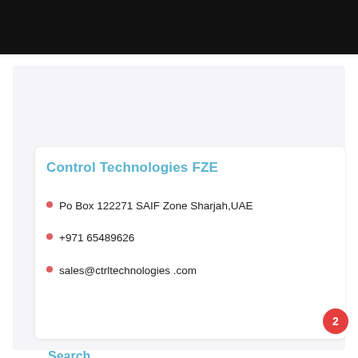[Figure (photo): Dark/black banner image at top of page]
Control Technologies FZE
Po Box 122271 SAIF Zone Sharjah,UAE
+971 65489626
sales@ctrltechnologies .com
Search